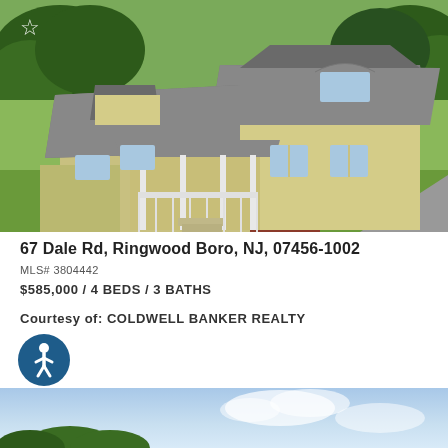[Figure (photo): Aerial/elevated exterior photo of a two-story yellow colonial-style house with gray roof, covered porch with white railings, surrounded by green trees, with red mulch landscaping and driveway visible]
67 Dale Rd, Ringwood Boro, NJ, 07456-1002
MLS# 3804442
$585,000 / 4 BEDS / 3 BATHS
Courtesy of: COLDWELL BANKER REALTY
[Figure (photo): Partial view of a second property listing photo showing sky and trees]
[Figure (logo): Accessibility icon — circular dark blue button with white wheelchair user figure]